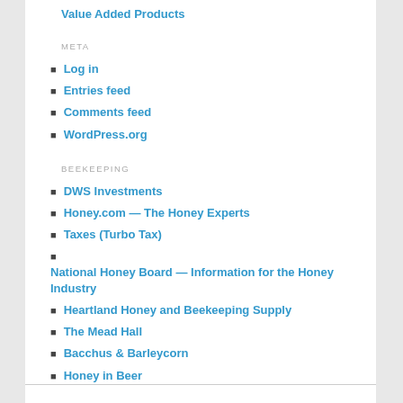Value Added Products
META
Log in
Entries feed
Comments feed
WordPress.org
BEEKEEPING
DWS Investments
Honey.com — The Honey Experts
Taxes (Turbo Tax)
National Honey Board — Information for the Honey Industry
Heartland Honey and Beekeeping Supply
The Mead Hall
Bacchus & Barleycorn
Honey in Beer